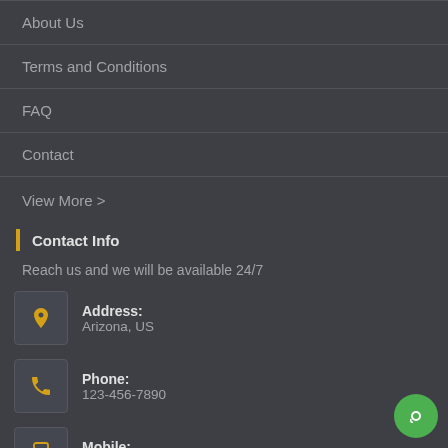About Us
Terms and Conditions
FAQ
Contact
View More >
Contact Info
Reach us and we will be available 24/7
Address:
Arizona, US
Phone:
123-456-7890
Mobile:
(1)234-567-8901